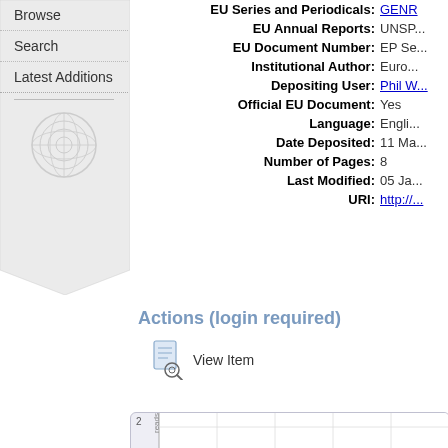Browse
Search
Latest Additions
| Field | Value |
| --- | --- |
| EU Series and Periodicals: | GENR... |
| EU Annual Reports: | UNSP... |
| EU Document Number: | EP Se... |
| Institutional Author: | Euro... |
| Depositing User: | Phil W... |
| Official EU Document: | Yes |
| Language: | Engli... |
| Date Deposited: | 11 Ma... |
| Number of Pages: | 8 |
| Last Modified: | 05 Ja... |
| URI: | http://... |
Actions (login required)
View Item
[Figure (bar-chart): Partial bar chart showing downloads over time with y-axis label 'reads' and value 2 visible on y-axis]